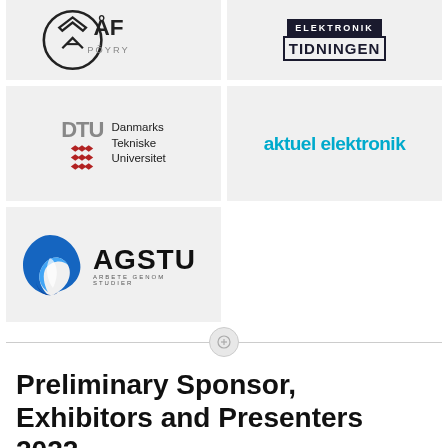[Figure (logo): ÅF PÖYRY logo - circular logo with ÅF PÖYRY text]
[Figure (logo): Elektronik Tidningen logo - dark navy text logo]
[Figure (logo): DTU Danmarks Tekniske Universitet logo with red wave marks]
[Figure (logo): aktuel elektronik logo in cyan/blue text]
[Figure (logo): AGSTU Arbete Genom Studier logo with blue triangle shape]
Preliminary Sponsor, Exhibitors and Presenters 2022